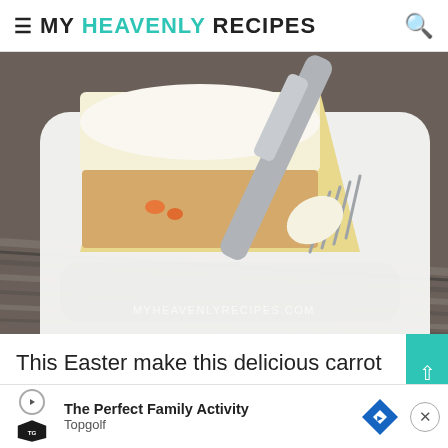MY HEAVENLY RECIPES
[Figure (photo): Close-up of a slice of carrot cake cheesecake on a white plate with a fork, resting on a wooden surface. Watermark reads MYHEAVENLYRECIPES.COM]
This Easter make this delicious carrot cake cheesecake in your instant pot! So easy and ma...
[Figure (other): Advertisement banner: The Perfect Family Activity - Topgolf, with Topgolf logo, navigation arrow diamond icon, and close button]